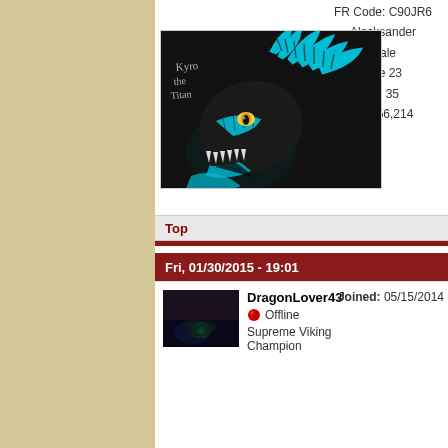FR Code: C90JR6
Alecksander
Male
Age 23
Lvl 35
Exp 56,214
[Figure (illustration): Fan art illustration of a teal/cyan and black dragon head named 'Kyro the Titan' with glowing yellow eyes and sharp white teeth, on a dark background]
Top
Fri, 01/30/2015 - 19:01
[Figure (photo): Small dark avatar image showing a glowing green light, user avatar for DragonLover43]
DragonLover43
Offline
Joined: 05/15/2014
Supreme Viking Champion